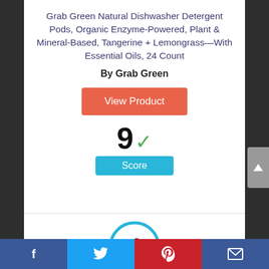Grab Green Natural Dishwasher Detergent Pods, Organic Enzyme-Powered, Plant & Mineral-Based, Tangerine + Lemongrass—With Essential Oils, 24 Count
By Grab Green
View Product
9 ✓
Score
4
[Figure (infographic): Social media share bar with Facebook, Twitter, Pinterest, and email icons]